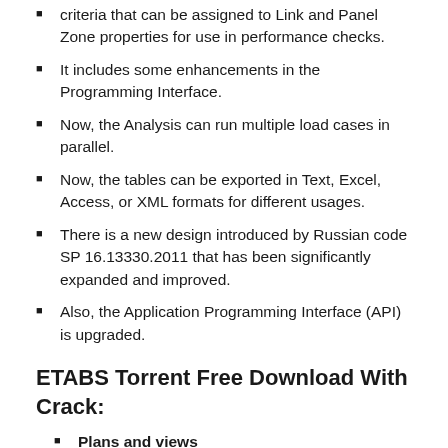criteria that can be assigned to Link and Panel Zone properties for use in performance checks.
It includes some enhancements in the Programming Interface.
Now, the Analysis can run multiple load cases in parallel.
Now, the tables can be exported in Text, Excel, Access, or XML formats for different usages.
There is a new design introduced by Russian code SP 16.13330.2011 that has been significantly expanded and improved.
Also, the Application Programming Interface (API) is upgraded.
ETABS Torrent Free Download With Crack:
Plans and views
The plan and elevation views are automatically generated on each row of the grid to allow for quick